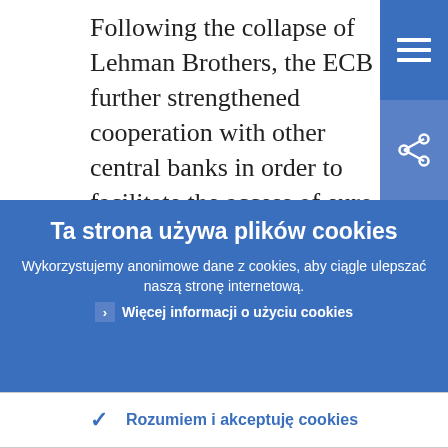Following the collapse of Lehman Brothers, the ECB further strengthened cooperation with other central banks in order to facilitate the access of euro area banks to liquidity in USD and Swiss Francs. See 186...
Ta strona używa plików cookies
Wykorzystujemy anonimowe dane z cookies, aby ciągle ulepszać naszą stronę internetową.
Więcej informacji o użyciu cookies
Rozumiem i akceptuję cookies
Nie akceptuję cookies